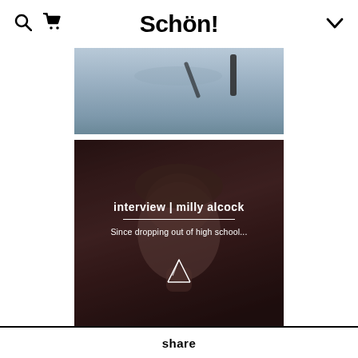Schön!
[Figure (photo): Partial top image showing a wintry/blue-grey sky scene with a dark object visible at top right]
[Figure (photo): Portrait of Milly Alcock with overlay text: interview | milly alcock / Since dropping out of high school... and a paper plane send icon]
share